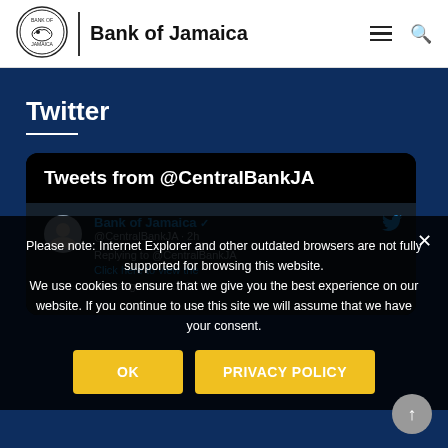[Figure (logo): Bank of Jamaica circular seal logo with text and image]
Bank of Jamaica
Twitter
[Figure (screenshot): Twitter embedded feed widget showing Tweets from @CentralBankJA with Bank of Jamaica profile]
Please note: Internet Explorer and other outdated browsers are not fully supported for browsing this website.
We use cookies to ensure that we give you the best experience on our website. If you continue to use this site we will assume that we have your consent.
OK
PRIVACY POLICY